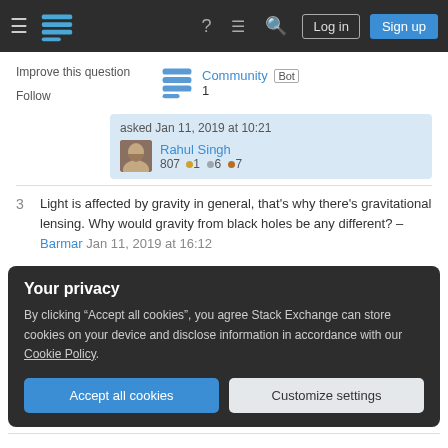Stack Exchange navigation bar with hamburger menu, logo, help, chat, search icons, Log in and Sign up buttons
Improve this question
Follow
Community Bot 1
asked Jan 11, 2019 at 10:21
Rahul Singh
807 ●1 ●6 ●7
3  Light is affected by gravity in general, that's why there's gravitational lensing. Why would gravity from black holes be any different? – Barmar Jan 11, 2019 at 16:12
Your privacy
By clicking "Accept all cookies", you agree Stack Exchange can store cookies on your device and disclose information in accordance with our Cookie Policy.
Accept all cookies
Customize settings